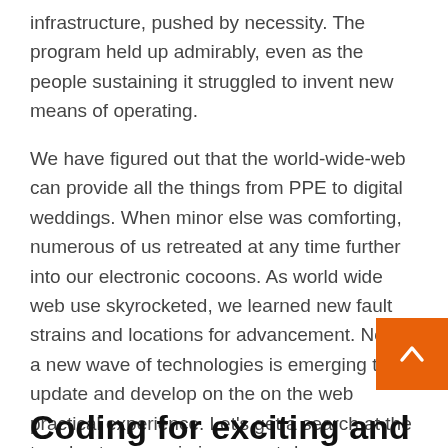infrastructure, pushed by necessity. The program held up admirably, even as the people sustaining it struggled to invent new means of operating.
We have figured out that the world-wide-web can provide all the things from PPE to digital weddings. When minor else was comforting, numerous of us retreated at any time further into our electronic cocoons. As world wide web use skyrocketed, we learned new fault strains and locations for advancement. Now, a new wave of technologies is emerging to update and develop on the on the web practical experience. Let’s get a search at the trends at engage in in present-day endeavours to rebuild the net as we know it.
Coding for exciting and